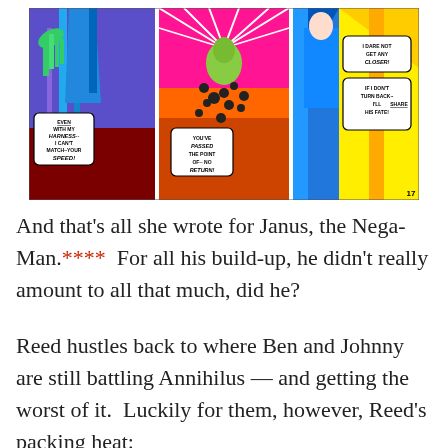[Figure (illustration): Three-panel comic strip showing superhero scenes. Panel 1: Blue figure with speech bubble 'Even with my harness-- I can't match your speed!' Panel 2: Green figure flying amid colorful explosion with speech bubble 'You've passed the point of-- no return!' Panel 3: Blue-costumed figure with speech bubbles 'I dare not get any closer!' and 'If I don't turn back-- I'll share his fate!' Page number 17 in bottom right.]
And that's all she wrote for Janus, the Nega-Man.****  For all his build-up, he didn't really amount to all that much, did he?
Reed hustles back to where Ben and Johnny are still battling Annihilus — and getting the worst of it.  Luckily for them, however, Reed's packing heat: